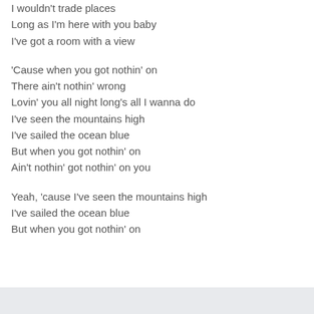I wouldn't trade places
Long as I'm here with you baby
I've got a room with a view
'Cause when you got nothin' on
There ain't nothin' wrong
Lovin' you all night long's all I wanna do
I've seen the mountains high
I've sailed the ocean blue
But when you got nothin' on
Ain't nothin' got nothin' on you
Yeah, 'cause I've seen the mountains high
I've sailed the ocean blue
But when you got nothin' on